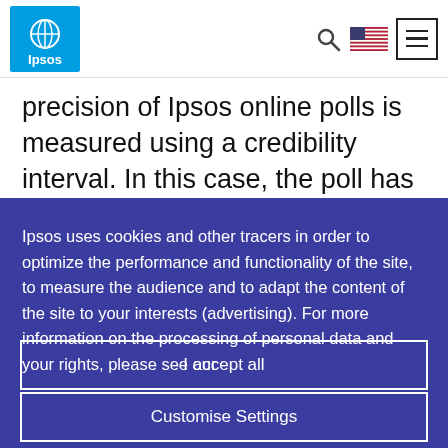Ipsos [logo] [search icon] [US flag] [menu icon]
precision of Ipsos online polls is measured using a credibility interval. In this case, the poll has a credibility interval of...
Ipsos uses cookies and other tracers in order to optimize the performance and functionality of the site, to measure the audience and to adapt the content of the site to your interests (advertising). For more information on the processing of personal data and your rights, please see our
I accept all
Customise Settings